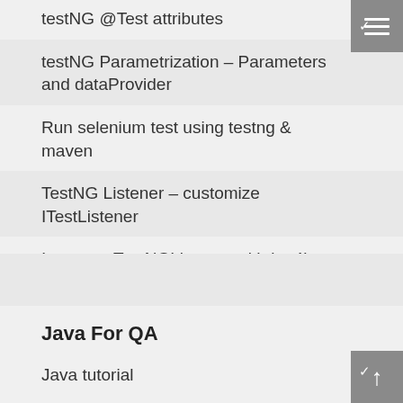testNG @Test attributes
testNG Parametrization – Parameters and dataProvider
Run selenium test using testng & maven
TestNG Listener – customize ITestListener
Integrate TestNGListener with log4j for reporting
Java For QA
Java tutorial
“this” keyword in java with examples